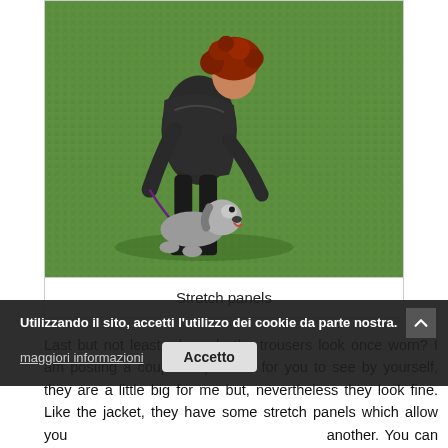[Figure (photo): A woman with red curly hair wearing a dark jacket bends down toward a gray dog on a leash. They are outdoors on lush green grass/vegetation.]
Stretch panels
Last but not least... how do the trousers look once worn? I am posting a couple of pictures for you to see by yourself, they are a little big for me but, nevertheless they look fine. Like the jacket, they have some stretch panels which allow you to move from one position to another. You can walk uphill through the wood, even on steep hills. They are comfortable, but they do not make you look like an housewife in pyjamas, smart ladies know this is